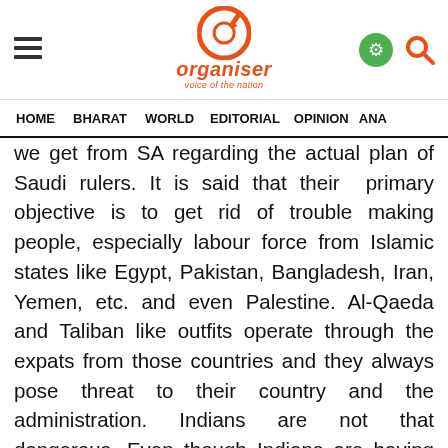Organiser — voice of the nation
HOME  BHARAT  WORLD  EDITORIAL  OPINION  ANA
we get from SA regarding the actual plan of Saudi rulers. It is said that their primary objective is to get rid of trouble making people, especially labour force from Islamic states like Egypt, Pakistan, Bangladesh, Iran, Yemen, etc. and even Palestine. Al-Qaeda and Taliban like outfits operate through the expats from those countries and they always pose threat to their country and the administration. Indians are not that dangerous. Even though Indians are having their own political and philosophical schools of thoughts, once they reach the foreign soil most of them keep their aforementioned thoughts in their mind and prefer to concentrate in